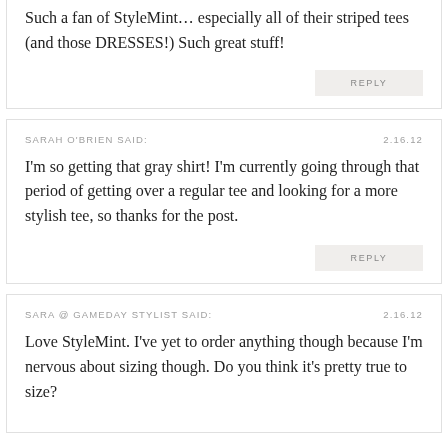Such a fan of StyleMint… especially all of their striped tees (and those DRESSES!) Such great stuff!
REPLY
SARAH O'BRIEN SAID:
2.16.12
I'm so getting that gray shirt! I'm currently going through that period of getting over a regular tee and looking for a more stylish tee, so thanks for the post.
REPLY
SARA @ GAMEDAY STYLIST SAID:
2.16.12
Love StyleMint. I've yet to order anything though because I'm nervous about sizing though. Do you think it's pretty true to size?